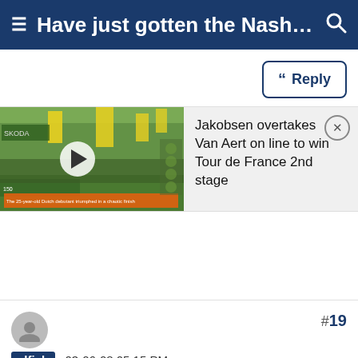Have just gotten the Nashbar si...
Reply
[Figure (screenshot): Video thumbnail showing a cycling race crowd scene with a play button overlay and orange subtitle text]
Jakobsen overtakes Van Aert on line to win Tour de France 2nd stage
#19
elfich , 03-06-08 05:15 PM
Senior Member
I'm planning on taking a serious look at the BOB trailer
Senior Member
I'm planning on taking a serious look at the BOB trailer